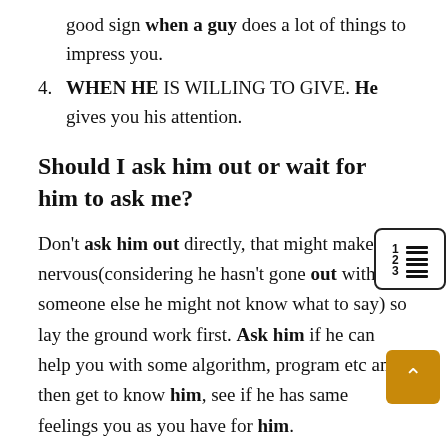good sign when a guy does a lot of things to impress you.
4. WHEN HE IS WILLING TO GIVE. He gives you his attention.
Should I ask him out or wait for him to ask me?
Don't ask him out directly, that might make him nervous(considering he hasn't gone out with someone else he might not know what to say) so lay the ground work first. Ask him if he can help you with some algorithm, program etc and then get to know him, see if he has same feelings you as you have for him.